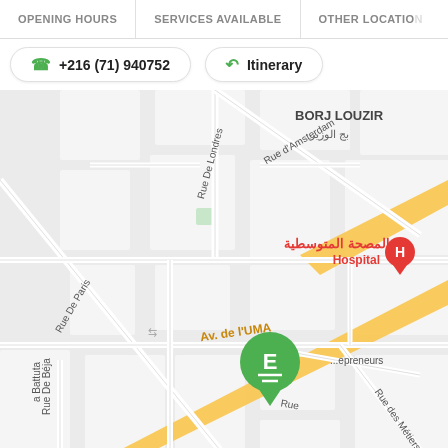OPENING HOURS   SERVICES AVAILABLE   OTHER LOCATIONS
+216 (71) 940752
Itinerary
[Figure (map): Street map showing location marked with green 'E' circle marker on Av. de l'UMA near a hospital (المصحة المتوسطية) in Tunis, Tunisia. Streets visible include Rue De Paris, Rue De Londres, Rue d'Amsterdam, Rue De Béja, Rue des Métiers, and a main yellow avenue (Av. de l'UMA). BORJ LOUZIR neighborhood label visible top right. A red hospital 'H' marker is visible near the hospital label.]